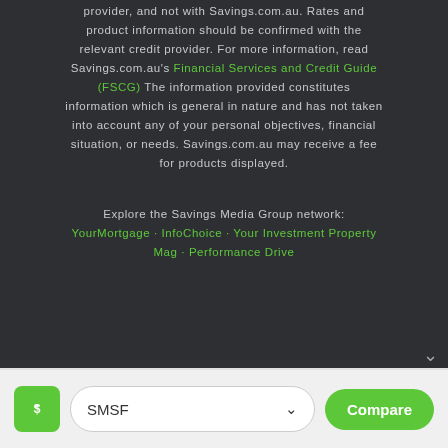Savings.com.au, you will deal directly with a credit provider, and not with Savings.com.au. Rates and product information should be confirmed with the relevant credit provider. For more information, read Savings.com.au's Financial Services and Credit Guide (FSCG) The information provided constitutes information which is general in nature and has not taken into account any of your personal objectives, financial situation, or needs. Savings.com.au may receive a fee for products displayed.
Explore the Savings Media Group network: YourMortgage · InfoChoice · Your Investment Property Mag · Performance Drive
[Figure (logo): Green diamond-shaped savings logo icon]
SMSF
Compare